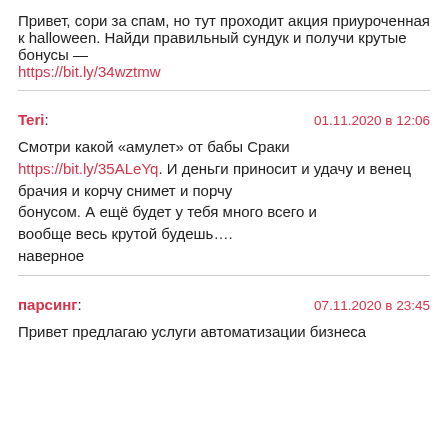Привет, сори за спам, но тут проходит акция приуроченная к halloween. Найди правильный сундук и получи крутые бонусы — https://bit.ly/34wztmw
Teri: 01.11.2020 в 12:06
Смотри какой «амулет» от бабы Сраки https://bit.ly/35ALeYq. И деньги приносит и удачу и венец брачия и корчу снимет и порчу бонусом. А ещё будет у тебя много всего и вообще весь крутой будешь…. наверное
парсинг: 07.11.2020 в 23:45
Привет предлагаю услуги автоматизации бизнеса